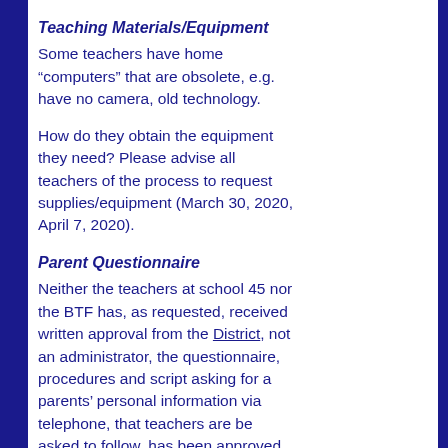Teaching Materials/Equipment
Some teachers have home “computers” that are obsolete, e.g. have no camera, old technology.
How do they obtain the equipment they need? Please advise all teachers of the process to request supplies/equipment (March 30, 2020, April 7, 2020).
Parent Questionnaire
Neither the teachers at school 45 nor the BTF has, as requested, received written approval from the District, not an administrator, the questionnaire, procedures and script asking for a parents’ personal information via telephone, that teachers are be asked to follow, has been approved andboardapproved…